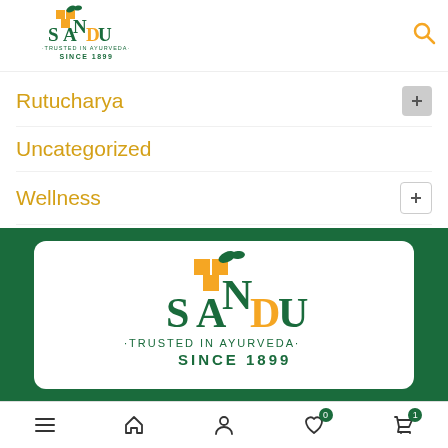Sandu - Trusted in Ayurveda Since 1899 (logo + search icon)
Rutucharya
Uncategorized
Wellness
[Figure (logo): Sandu logo - Trusted in Ayurveda Since 1899 on white rounded card with green background]
Bottom navigation: menu, home, account, wishlist (0), cart (1)